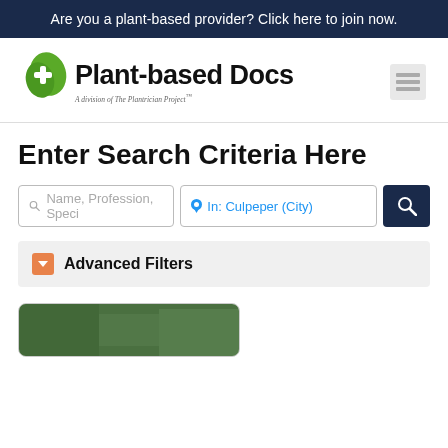Are you a plant-based provider? Click here to join now.
[Figure (logo): Plant-based Docs logo with green leaf and plus sign, subtitle: A division of The Plantrician Project]
Enter Search Criteria Here
[Figure (screenshot): Search bar with two fields: 'Name, Profession, Speci' and 'In: Culpeper (City)' with a dark blue search button]
Advanced Filters
[Figure (photo): Partial green foliage photo at bottom of page]